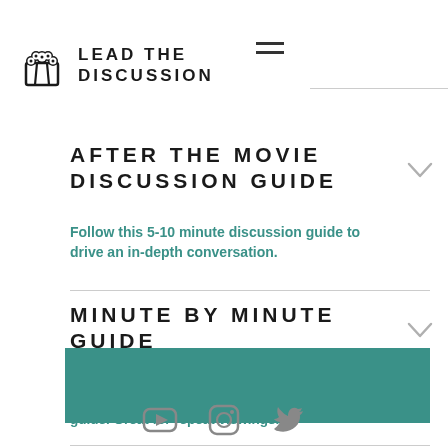LEAD THE DISCUSSION
AFTER THE MOVIE DISCUSSION GUIDE
Follow this 5-10 minute discussion guide to drive an in-depth conversation.
MINUTE BY MINUTE GUIDE
Use this break down of the entire movie in addition to the “After the Movie” discussion guide. Great for repeat viewings.
[Figure (other): Teal/green colored rectangular button or banner]
[Figure (other): Social media icons: YouTube, Instagram, Twitter]